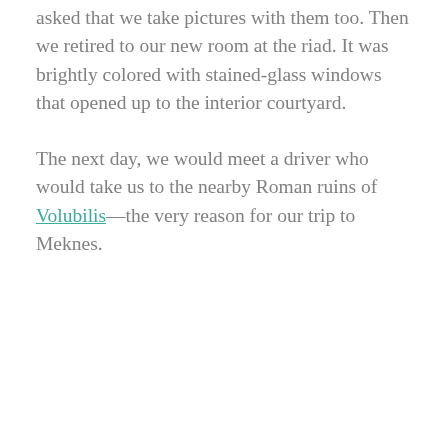asked that we take pictures with them too. Then we retired to our new room at the riad. It was brightly colored with stained-glass windows that opened up to the interior courtyard.
The next day, we would meet a driver who would take us to the nearby Roman ruins of Volubilis—the very reason for our trip to Meknes.